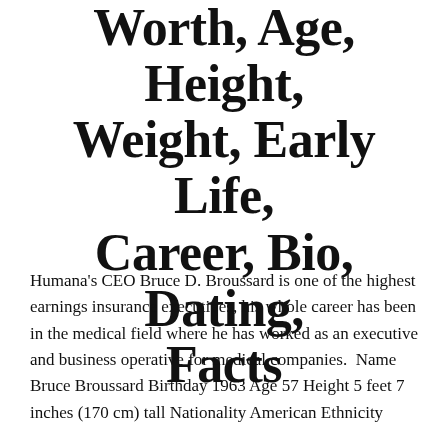Bruce Broussard Net Worth, Age, Height, Weight, Early Life, Career, Bio, Dating, Facts
Humana's CEO Bruce D. Broussard is one of the highest earnings insurance executives, his whole career has been in the medical field where he has worked as an executive and business operative for medical companies.  Name Bruce Broussard Birthday 1963 Age 57 Height 5 feet 7 inches (170 cm) tall Nationality American Ethnicity